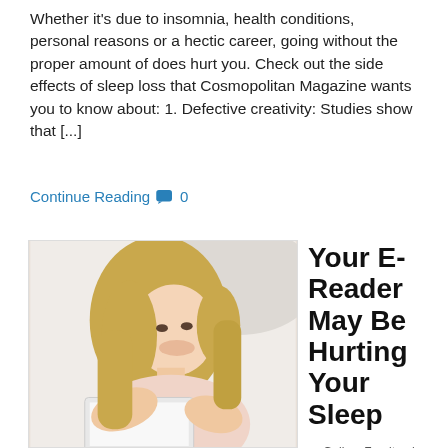Whether it’s due to insomnia, health conditions, personal reasons or a hectic career, going without the proper amount of does hurt you.  Check out the side effects of sleep loss that Cosmopolitan Magazine wants you to know about: 1. Defective creativity: Studies show that [...]
Continue Reading 💬 0
[Figure (photo): A smiling blonde woman lying on a couch looking at a tablet or laptop, wearing a light pink top, in a bright white room.]
Your E-Reader May Be Hurting Your Sleep
by Gallery Furniture’s Sleep Center in